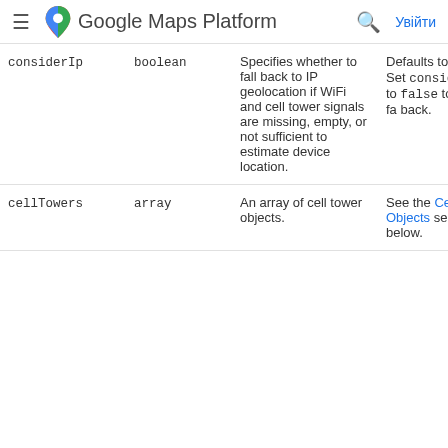Google Maps Platform — Увійти
| Field | Type | Description | Notes |
| --- | --- | --- | --- |
| considerIp | boolean | Specifies whether to fall back to IP geolocation if WiFi and cell tower signals are missing, empty, or not sufficient to estimate device location. | Defaults to true. Set considerIp to false to disable fallback. |
| cellTowers | array | An array of cell tower objects. | See the Cell Tower Objects section below. |